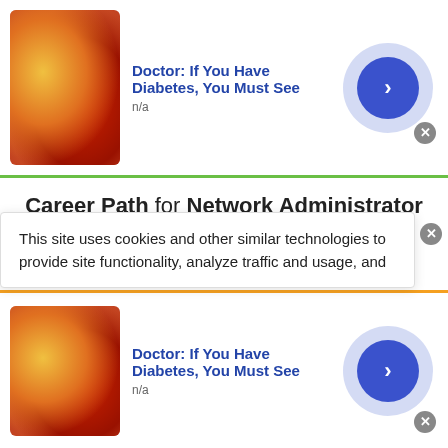[Figure (other): Top advertisement banner: candy/gummy image, text 'Doctor: If You Have Diabetes, You Must See', subtext 'n/a', arrow button, close button]
Career Path for Network Administrator II
[Figure (flowchart): Career path diagram showing Network Administrator III node (green icon) connected by dashed upward arrow to Network Administrator II node (teal icon)]
This site uses cookies and other similar technologies to provide site functionality, analyze traffic and usage, and
[Figure (other): Bottom advertisement banner: candy/gummy image, text 'Doctor: If You Have Diabetes, You Must See', subtext 'n/a', arrow button, close button]